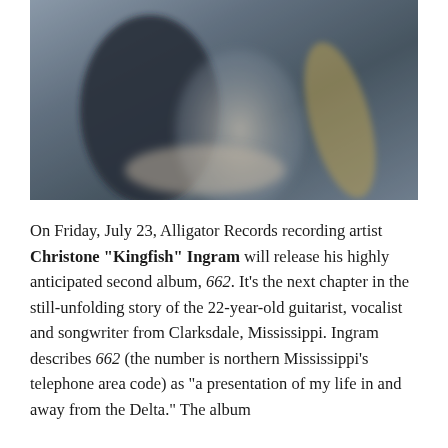[Figure (photo): Blurred/out-of-focus photograph of a musician playing guitar, dark background with a light-colored shirt visible]
On Friday, July 23, Alligator Records recording artist Christone "Kingfish" Ingram will release his highly anticipated second album, 662. It's the next chapter in the still-unfolding story of the 22-year-old guitarist, vocalist and songwriter from Clarksdale, Mississippi. Ingram describes 662 (the number is northern Mississippi's telephone area code) as "a presentation of my life in and away from the Delta." The album